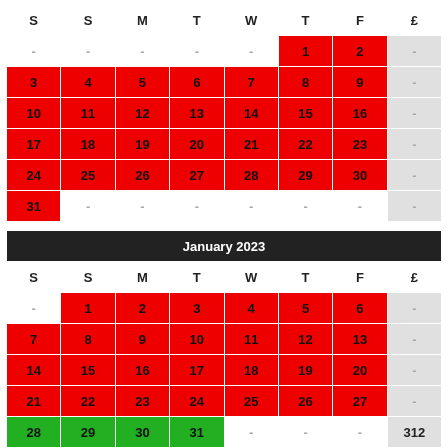| S | S | M | T | W | T | F | £ |
| --- | --- | --- | --- | --- | --- | --- | --- |
| - | - | - | - | - | 1 | 2 | - |
| 3 | 4 | 5 | 6 | 7 | 8 | 9 | - |
| 10 | 11 | 12 | 13 | 14 | 15 | 16 | - |
| 17 | 18 | 19 | 20 | 21 | 22 | 23 | - |
| 24 | 25 | 26 | 27 | 28 | 29 | 30 | - |
| 31 | - | - | - | - | - | - | - |
| S | S | M | T | W | T | F | £ |
| --- | --- | --- | --- | --- | --- | --- | --- |
| - | 1 | 2 | 3 | 4 | 5 | 6 | - |
| 7 | 8 | 9 | 10 | 11 | 12 | 13 | - |
| 14 | 15 | 16 | 17 | 18 | 19 | 20 | - |
| 21 | 22 | 23 | 24 | 25 | 26 | 27 | - |
| 28 | 29 | 30 | 31 | - | - | - | 312 |